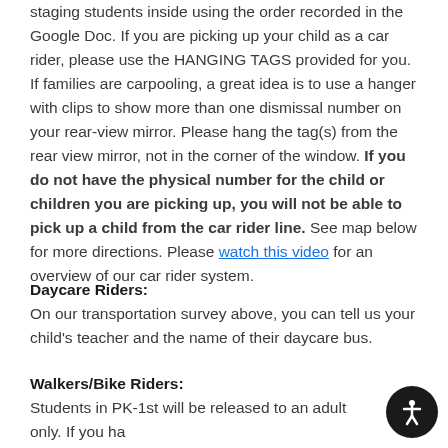staging students inside using the order recorded in the Google Doc. If you are picking up your child as a car rider, please use the HANGING TAGS provided for you. If families are carpooling, a great idea is to use a hanger with clips to show more than one dismissal number on your rear-view mirror. Please hang the tag(s) from the rear view mirror, not in the corner of the window. If you do not have the physical number for the child or children you are picking up, you will not be able to pick up a child from the car rider line. See map below for more directions. Please watch this video for an overview of our car rider system.
Daycare Riders:
On our transportation survey above, you can tell us your child's teacher and the name of their daycare bus.
Walkers/Bike Riders:
Students in PK-1st will be released to an adult only. If you have a PK-1st grader that you would like to walk home with an ol…